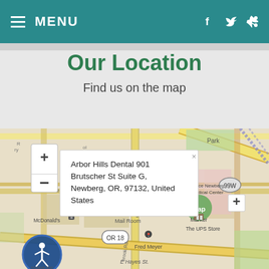MENU
Our Location
Find us on the map
[Figure (map): Interactive street map of Newberg, Oregon showing the location of Arbor Hills Dental at 901 Brutscher St Suite G, with nearby landmarks including McDonald's, Newberg Mail Room, The UPS Store, Fred Meyer, OR 18, Providence Newberg Medical Center, map zoom controls (+/-), and a location popup with address details.]